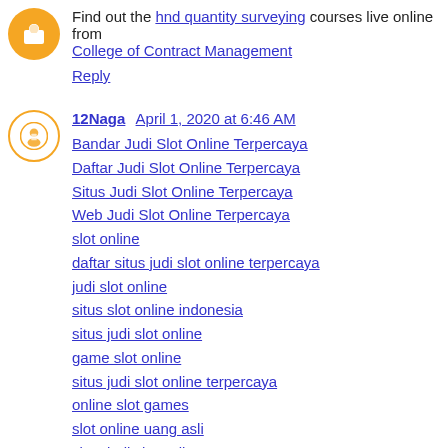Find out the hnd quantity surveying courses live online from College of Contract Management
Reply
12Naga  April 1, 2020 at 6:46 AM
Bandar Judi Slot Online Terpercaya
Daftar Judi Slot Online Terpercaya
Situs Judi Slot Online Terpercaya
Web Judi Slot Online Terpercaya
slot online
daftar situs judi slot online terpercaya
judi slot online
situs slot online indonesia
situs judi slot online
game slot online
situs judi slot online terpercaya
online slot games
slot online uang asli
situs judi slot online terpercaya 2019
daftar slot online